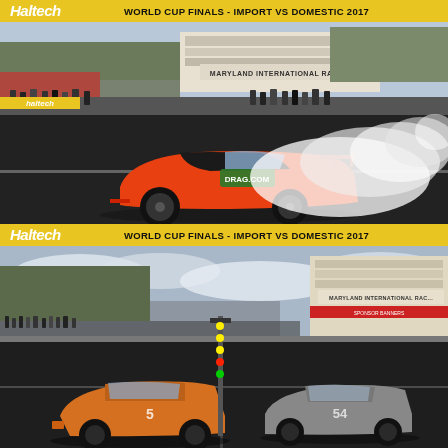Haltech | WORLD CUP FINALS - IMPORT vs DOMESTIC 2017
[Figure (photo): Orange Honda S2000 sports car doing a burnout on the drag strip at Maryland International Raceway, with smoke billowing from the rear tires. DRAG.COM branding visible on the car. Spectators and crew members line the track, timer tower visible in background.]
Haltech | WORLD CUP FINALS - IMPORT vs DOMESTIC 2017
[Figure (photo): Two race cars staged at the starting line of Maryland International Raceway for a drag race. Spectators visible along the left side of the track, timing tower and sponsor signage visible on the right. Cloudy sky overhead.]